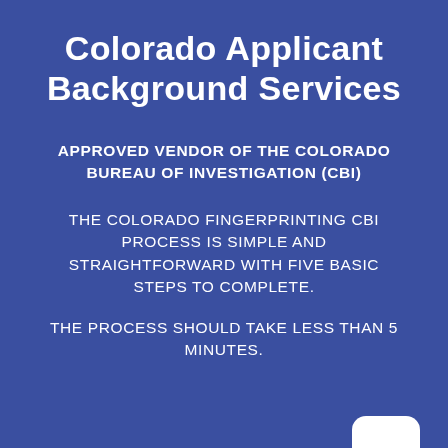Colorado Applicant Background Services
APPROVED VENDOR OF THE COLORADO BUREAU OF INVESTIGATION (CBI)
THE COLORADO FINGERPRINTING CBI PROCESS IS SIMPLE AND STRAIGHTFORWARD WITH FIVE BASIC STEPS TO COMPLETE.
THE PROCESS SHOULD TAKE LESS THAN 5 MINUTES.